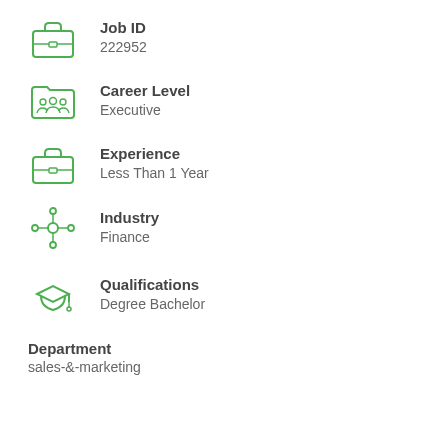Job ID 222952
Career Level Executive
Experience Less Than 1 Year
Industry Finance
Qualifications Degree Bachelor
Department sales-&-marketing